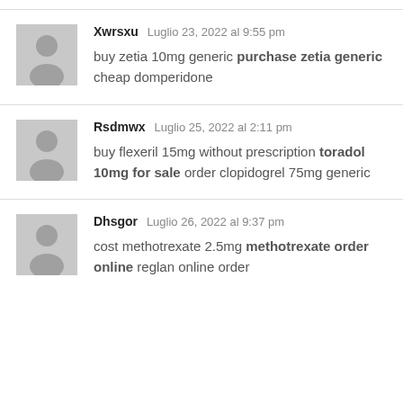Xwrsxu  Luglio 23, 2022 al 9:55 pm
buy zetia 10mg generic purchase zetia generic cheap domperidone
Rsdmwx  Luglio 25, 2022 al 2:11 pm
buy flexeril 15mg without prescription toradol 10mg for sale order clopidogrel 75mg generic
Dhsgor  Luglio 26, 2022 al 9:37 pm
cost methotrexate 2.5mg methotrexate order online reglan online order